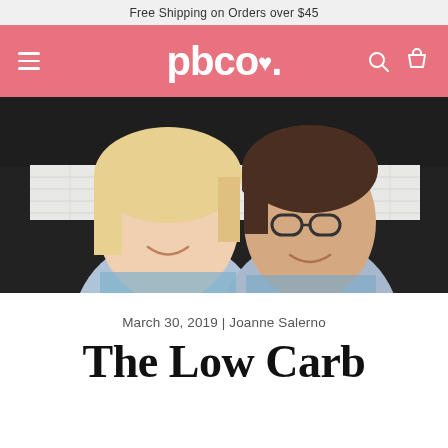Free Shipping on Orders over $45
[Figure (logo): pbco. logo in white text on salmon/pink navigation bar with hamburger menu on left and search and cart icons on right]
[Figure (photo): Two smiling women in a kitchen setting wearing blue aprons. One has blonde hair, the other has dark short hair and glasses.]
March 30, 2019 | Joanne Salerno
The Low Carb